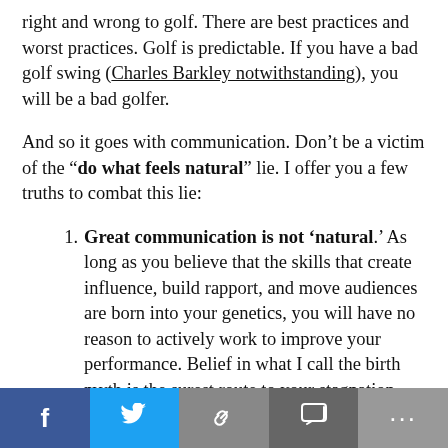right and wrong to golf. There are best practices and worst practices. Golf is predictable. If you have a bad golf swing (Charles Barkley notwithstanding), you will be a bad golfer.
And so it goes with communication. Don’t be a victim of the “do what feels natural” lie. I offer you a few truths to combat this lie:
Great communication is not ‘natural.’ As long as you believe that the skills that create influence, build rapport, and move audiences are born into your genetics, you will have no reason to actively work to improve your performance. Belief in what I call the birth myth is the surest route to your stagnation. Any time you think that you can’t improve-
f  [twitter]  [link]  [chat]  ...